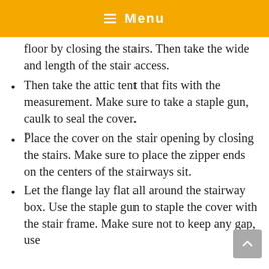Menu
floor by closing the stairs. Then take the wide and length of the stair access.
Then take the attic tent that fits with the measurement. Make sure to take a staple gun, caulk to seal the cover.
Place the cover on the stair opening by closing the stairs. Make sure to place the zipper ends on the centers of the stairways sit.
Let the flange lay flat all around the stairway box. Use the staple gun to staple the cover with the stair frame. Make sure not to keep any gap, use